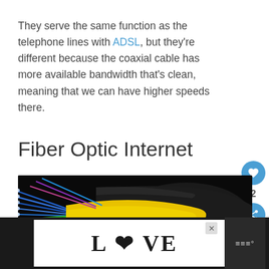They serve the same function as the telephone lines with ADSL, but they're different because the coaxial cable has more available bandwidth that's clean, meaning that we can have higher speeds there.
Fiber Optic Internet
[Figure (photo): Close-up photograph of fiber optic cables split open, showing colorful internal strands (blue, green, orange, red, yellow) fanning out from a black cable exterior against a dark background.]
[Figure (other): Advertisement banner showing decorative 'LOVE' text with ornamental illustration styling, with a close (X) button in the top right corner.]